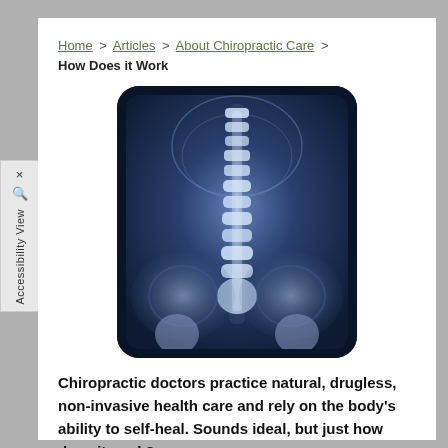Home > Articles > About Chiropractic Care > How Does it Work
[Figure (photo): X-ray image of a human spine (lumbar/sacral region), anterior-posterior view, showing vertebrae and pelvis in blue-toned radiograph style with rounded corners.]
Chiropractic doctors practice natural, drugless, non-invasive health care and rely on the body's ability to self-heal. Sounds ideal, but just how does it work?